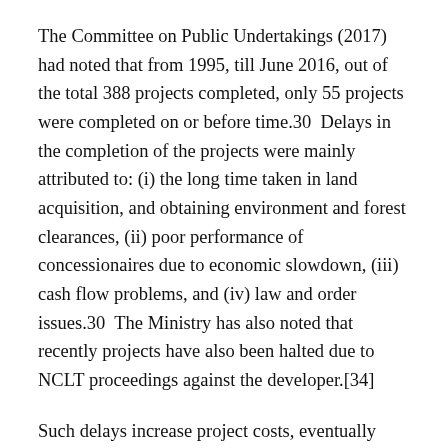The Committee on Public Undertakings (2017) had noted that from 1995, till June 2016, out of the total 388 projects completed, only 55 projects were completed on or before time.30  Delays in the completion of the projects were mainly attributed to: (i) the long time taken in land acquisition, and obtaining environment and forest clearances, (ii) poor performance of concessionaires due to economic slowdown, (iii) cash flow problems, and (iv) law and order issues.30  The Ministry has also noted that recently projects have also been halted due to NCLT proceedings against the developer.[34]
Such delays increase project costs, eventually making certain projects unviable.  As of December 2021, the cumulative cost overrun of projects in the road sector is estimated to be greater than Rs 8,120 crore.18
In order to resolve languishing projects the Ministry has taken some steps which include: (i) implementing an exit policy